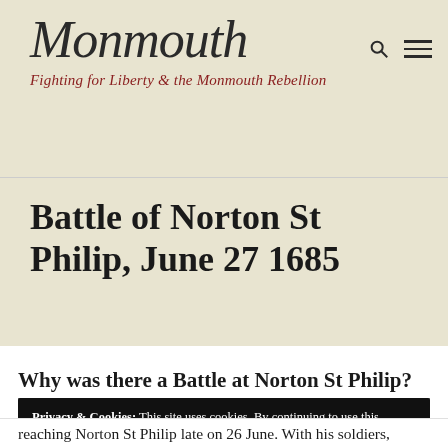Monmouth — Fighting for Liberty & the Monmouth Rebellion
Battle of Norton St Philip, June 27 1685
Why was there a Battle at Norton St Philip?
Privacy & Cookies: This site uses cookies. By continuing to use this website, you agree to their use. To find out more, including how to control cookies, see here: Cookie Policy
reaching Norton St Philip late on 26 June. With his soldiers,